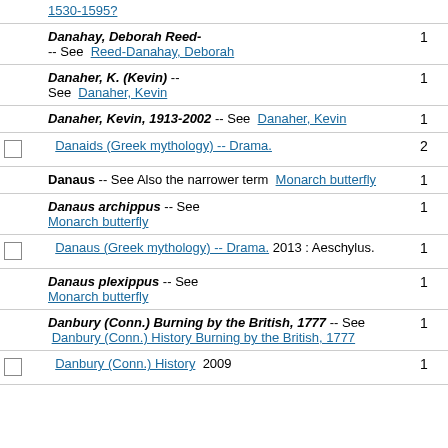|  | Entry | Count |
| --- | --- | --- |
|  | 1530-1595? |  |
|  | Danahay, Deborah Reed- -- See Reed-Danahay, Deborah | 1 |
|  | Danaher, K. (Kevin) -- See Danaher, Kevin | 1 |
|  | Danaher, Kevin, 1913-2002 -- See Danaher, Kevin | 1 |
| ☐ | Danaids (Greek mythology) -- Drama. | 2 |
|  | Danaus -- See Also the narrower term Monarch butterfly | 1 |
|  | Danaus archippus -- See Monarch butterfly | 1 |
| ☐ | Danaus (Greek mythology) -- Drama. : Aeschylus. 2013 | 1 |
|  | Danaus plexippus -- See Monarch butterfly | 1 |
|  | Danbury (Conn.) Burning by the British, 1777 -- See Danbury (Conn.) History Burning by the British, 1777 | 1 |
| ☐ | Danbury (Conn.) History 2009 | 1 |